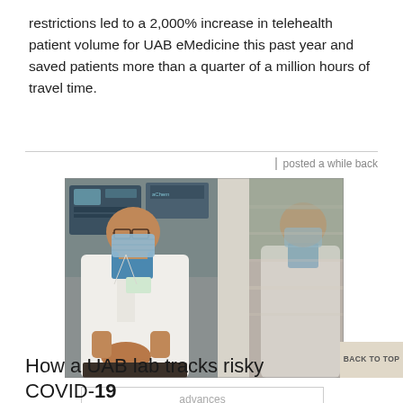restrictions led to a 2,000% increase in telehealth patient volume for UAB eMedicine this past year and saved patients more than a quarter of a million hours of travel time.
posted a while back
[Figure (photo): Two views of a male doctor wearing a white lab coat, blue scrubs, and a light blue surgical mask, seated in a medical lab or clinical setting with equipment visible in the background. The right side of the image appears motion-blurred.]
advances
BACK TO TOP
How a UAB lab tracks risky COVID-19